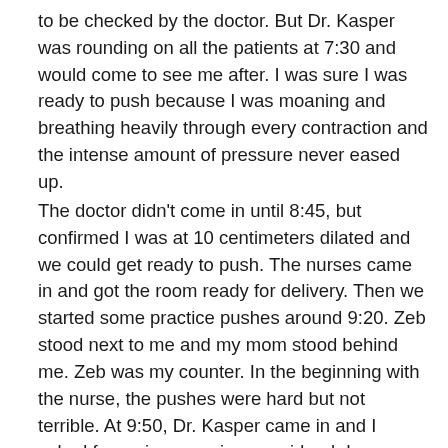to be checked by the doctor. But Dr. Kasper was rounding on all the patients at 7:30 and would come to see me after. I was sure I was ready to push because I was moaning and breathing heavily through every contraction and the intense amount of pressure never eased up.
The doctor didn't come in until 8:45, but confirmed I was at 10 centimeters dilated and we could get ready to push. The nurses came in and got the room ready for delivery. Then we started some practice pushes around 9:20. Zeb stood next to me and my mom stood behind me. Zeb was my counter. In the beginning with the nurse, the pushes were hard but not terrible. At 9:50, Dr. Kasper came in and I asked for an increase in my epidural dose because I was feeling everything. Dr. Kasper used hot compresses, oil and massage. The pushes were still much harder than I expected with an epidural. Even after I finished a set of